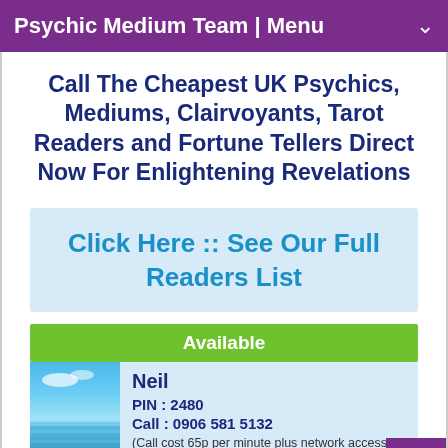Psychic Medium Team | Menu
Call The Cheapest UK Psychics, Mediums, Clairvoyants, Tarot Readers and Fortune Tellers Direct Now For Enlightening Revelations
Click Here :: See Our Full Readers List
Available
[Figure (photo): Blue sky and ocean/sea photo used as psychic reader profile image for Neil]
Neil
PIN : 2480
Call : 0906 581 5132
(Call cost 65p per minute plus network access charges apply)